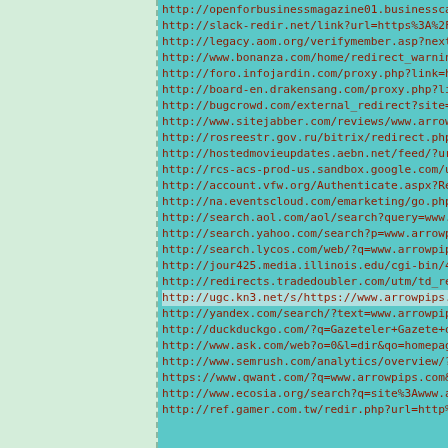http://openforbusinessmagazine01.businesscataly...
http://slack-redir.net/link?url=https%3A%2F%2Fw...
http://legacy.aom.org/verifymember.asp?nextpage...
http://www.bonanza.com/home/redirect_warning?ur...
http://foro.infojardin.com/proxy.php?link=https...
http://board-en.drakensang.com/proxy.php?link=h...
http://bugcrowd.com/external_redirect?site=http...
http://www.sitejabber.com/reviews/www.arrowpips...
http://rosreestr.gov.ru/bitrix/redirect.php?got...
http://hostedmovieupdates.aebn.net/feed/?urlstu...
http://rcs-acs-prod-us.sandbox.google.com/url?s...
http://account.vfw.org/Authenticate.aspx?Return...
http://na.eventscloud.com/emarketing/go.php?i=4...
http://search.aol.com/aol/search?query=www.arro...
http://search.yahoo.com/search?p=www.arrowpips....
http://search.lycos.com/web/?q=www.arrowpips.co...
http://jour425.media.illinois.edu/cgi-bin/425.c...
http://redirects.tradedoubler.com/utm/td_redire...
http://ugc.kn3.net/s/https://www.arrowpips.com
http://yandex.com/search/?text=www.arrowpips.co...
http://duckduckgo.com/?q=Gazeteler+Gazete+oku&t...
http://www.ask.com/web?o=0&l=dir&qo=homepageSea...
http://www.semrush.com/analytics/overview/?q=ht...
https://www.qwant.com/?q=www.arrowpips.com&t=we...
http://www.ecosia.org/search?q=site%3Awww.arrow...
http://ref.gamer.com.tw/redir.php?url=http%3A%2...